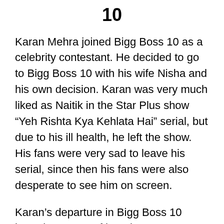10
Karan Mehra joined Bigg Boss 10 as a celebrity contestant. He decided to go to Bigg Boss 10 with his wife Nisha and his own decision. Karan was very much liked as Naitik in the Star Plus show “Yeh Rishta Kya Kehlata Hai” serial, but due to his ill health, he left the show. His fans were very sad to leave his serial, since then his fans were also desperate to see him on screen.
Karan’s departure in Bigg Boss 10 brought a wave of happiness among his fans. In the role of Naitik, Karan worked till 7 seven, he is very cultured and settled in this character, people liked it very much. In Bigg Boss 10, Karan appeared to be a very strong contestant, as